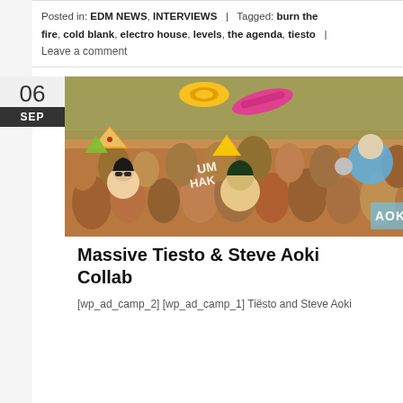Posted in: EDM NEWS, INTERVIEWS | Tagged: burn the fire, cold blank, electro house, levels, the agenda, tiesto |
Leave a comment
[Figure (photo): Festival crowd photo with illustrated comic-style overlays featuring Steve Aoki and Tiesto cartoon characters, colorful items like pizza slice, skateboard, with AOKI text visible]
Massive Tiesto & Steve Aoki Collab
[wp_ad_camp_2] [wp_ad_camp_1] Tiësto and Steve Aoki